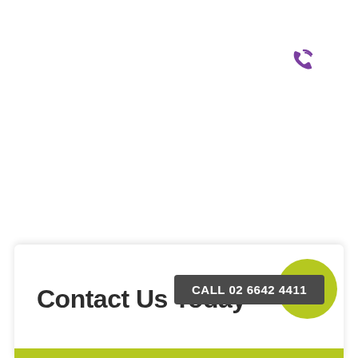[Figure (illustration): Purple phone icon with radio waves, indicating a calling/contact feature, positioned in upper right area]
Contact Us Today
CALL 02 6642 4411
[Figure (illustration): Yellow-green circle with dark phone handset icon inside, positioned at bottom right of contact card]
[Figure (illustration): Yellow-green horizontal bar at the bottom of the page]